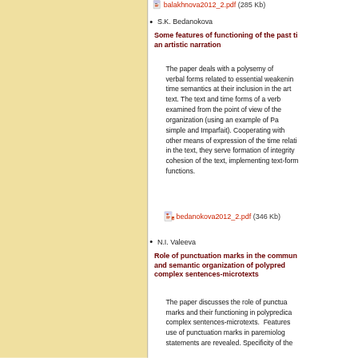S.K. Bedanokova
Some features of functioning of the past ti... an artistic narration
The paper deals with a polysemy of verbal forms related to essential weakenin... time semantics at their inclusion in the art... text. The text and time forms of a verb... examined from the point of view of the... organization (using an example of Pa... simple and Imparfait). Cooperating with... other means of expression of the time relati... in the text, they serve formation of integrity... cohesion of the text, implementing text-form... functions.
bedanokova2012_2.pdf (346 Kb)
N.I. Valeeva
Role of punctuation marks in the commun... and semantic organization of polypred... complex sentences-microtexts
The paper discusses the role of punctua... marks and their functioning in polypredica... complex sentences-microtexts. Features... use of punctuation marks in paremiolog... statements are revealed. Specificity of the...